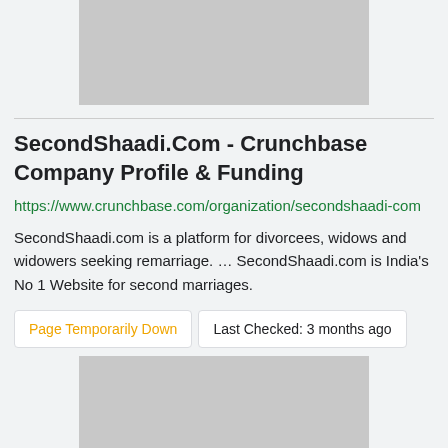[Figure (other): Gray advertisement placeholder banner at the top of the page]
SecondShaadi.Com - Crunchbase Company Profile & Funding
https://www.crunchbase.com/organization/secondshaadi-com
SecondShaadi.com is a platform for divorcees, widows and widowers seeking remarriage. … SecondShaadi.com is India's No 1 Website for second marriages.
Page Temporarily Down | Last Checked: 3 months ago
[Figure (other): Gray advertisement placeholder banner at the bottom of the page]